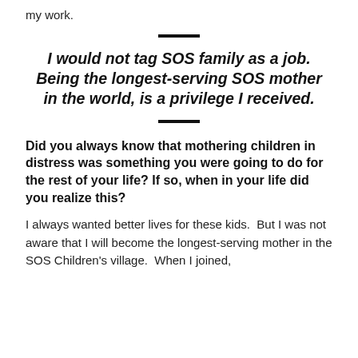my work.
I would not tag SOS family as a job. Being the longest-serving SOS mother in the world, is a privilege I received.
Did you always know that mothering children in distress was something you were going to do for the rest of your life? If so, when in your life did you realize this?
I always wanted better lives for these kids.  But I was not aware that I will become the longest-serving mother in the SOS Children's village.  When I joined,